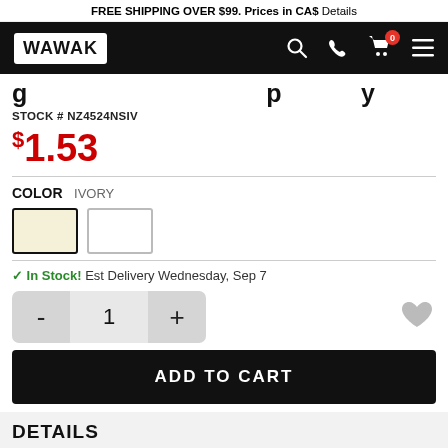FREE SHIPPING OVER $99. Prices in CA$ Details
[Figure (screenshot): WAWAK website navigation bar with logo, search, phone, cart (0), and menu icons]
STOCK # NZ4524NSIV
$1.53
COLOR IVORY
[Figure (other): Two color swatches: ivory (selected, dark border) and white]
✓ In Stock! Est Delivery Wednesday, Sep 7
Quantity selector: - 1 +
ADD TO CART
DETAILS